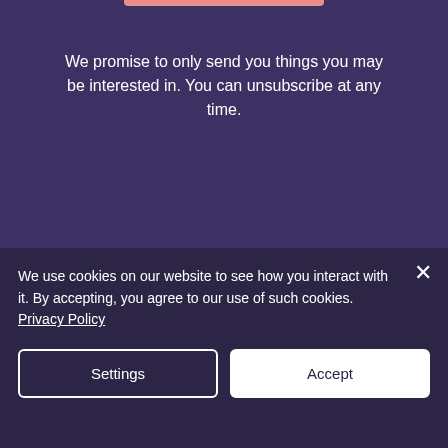We promise to only send you things you may be interested in. You can unsubscribe at any time.
Listen to our weekly Podcast:
We use cookies on our website to see how you interact with it. By accepting, you agree to our use of such cookies. Privacy Policy
Settings
Accept